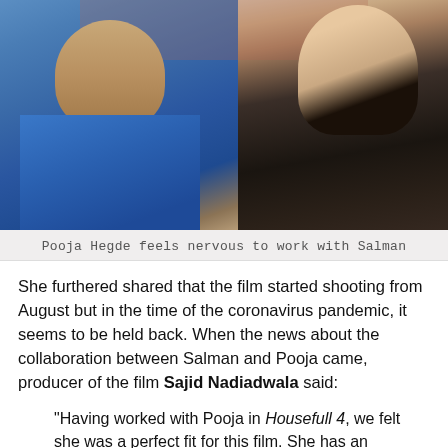[Figure (photo): Photo of two people: a man in a blue polo shirt on the left and a woman in a dark patterned outfit on the right, sitting together indoors.]
Pooja Hegde feels nervous to work with Salman
She furthered shared that the film started shooting from August but in the time of the coronavirus pandemic, it seems to be held back. When the news about the collaboration between Salman and Pooja came, producer of the film Sajid Nadiadwala said:
"Having worked with Pooja in Housefull 4, we felt she was a perfect fit for this film. She has an amazing screen presence and will make for a good pair with Salman.